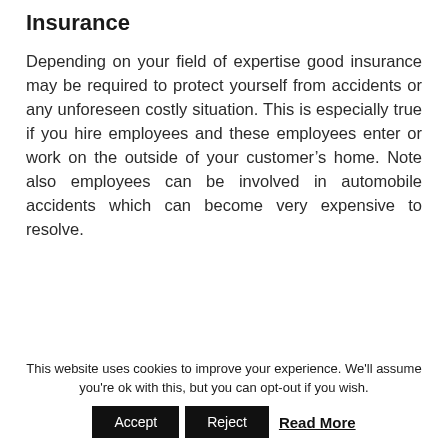Insurance
Depending on your field of expertise good insurance may be required to protect yourself from accidents or any unforeseen costly situation. This is especially true if you hire employees and these employees enter or work on the outside of your customer’s home. Note also employees can be involved in automobile accidents which can become very expensive to resolve.
This website uses cookies to improve your experience. We'll assume you're ok with this, but you can opt-out if you wish. Accept Reject Read More